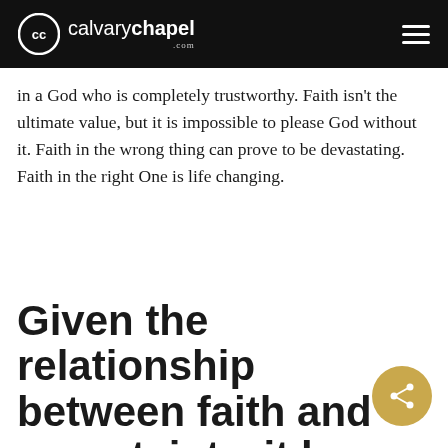calvarychapel.com
in a God who is completely trustworthy. Faith isn't the ultimate value, but it is impossible to please God without it. Faith in the wrong thing can prove to be devastating. Faith in the right One is life changing.
Given the relationship between faith and uncertainty, it begs the